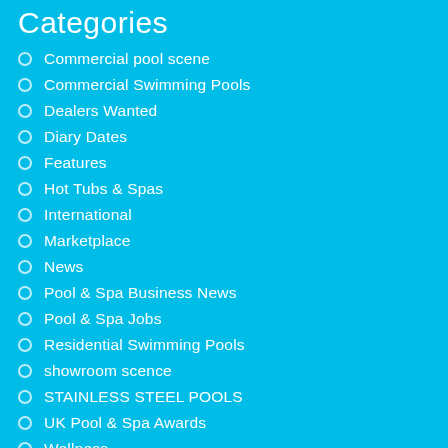Categories
Commercial pool scene
Commercial Swimming Pools
Dealers Wanted
Diary Dates
Features
Hot Tubs & Spas
International
Marketplace
News
Pool & Spa Business News
Pool & Spa Jobs
Residential Swimming Pools
showroom scence
STAINLESS STEEL POOLS
UK Pool & Spa Awards
Wellness